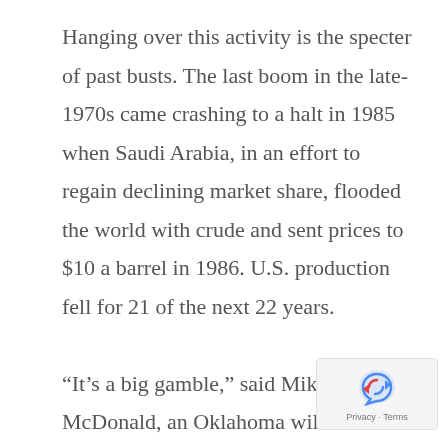Hanging over this activity is the specter of past busts. The last boom in the late-1970s came crashing to a halt in 1985 when Saudi Arabia, in an effort to regain declining market share, flooded the world with crude and sent prices to $10 a barrel in 1986. U.S. production fell for 21 of the next 22 years.

“It’s a big gamble,” said Mike McDonald, an Oklahoma wildcatter and president and co-owner of Triad Energy Inc. “Everyone thinks it’s